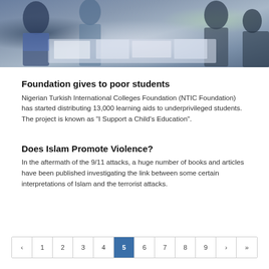[Figure (photo): Group of people looking at papers/documents spread on a table, photographed from above/angle]
Foundation gives to poor students
Nigerian Turkish International Colleges Foundation (NTIC Foundation) has started distributing 13,000 learning aids to underprivileged students. The project is known as “I Support a Child’s Education”.
Does Islam Promote Violence?
In the aftermath of the 9/11 attacks, a huge number of books and articles have been published investigating the link between some certain interpretations of Islam and the terrorist attacks.
‹ 1 2 3 4 5 6 7 8 9 › »